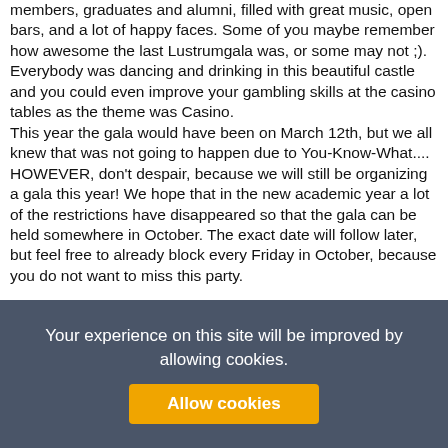members, graduates and alumni, filled with great music, open bars, and a lot of happy faces. Some of you maybe remember how awesome the last Lustrumgala was, or some may not ;). Everybody was dancing and drinking in this beautiful castle and you could even improve your gambling skills at the casino tables as the theme was Casino. This year the gala would have been on March 12th, but we all knew that was not going to happen due to You-Know-What.... HOWEVER, don't despair, because we will still be organizing a gala this year! We hope that in the new academic year a lot of the restrictions have disappeared so that the gala can be held somewhere in October. The exact date will follow later, but feel free to already block every Friday in October, because you do not want to miss this party.
Your experience on this site will be improved by allowing cookies.
Allow cookies